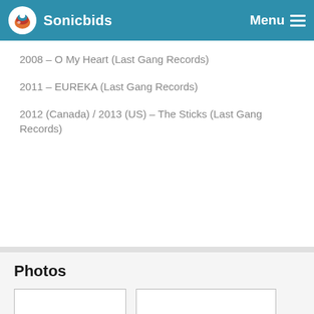Sonicbids  Menu
2008 – O My Heart (Last Gang Records)
2011 – EUREKA (Last Gang Records)
2012 (Canada) / 2013 (US) – The Sticks (Last Gang Records)
Photos
[Figure (photo): Empty photo placeholder box 1]
[Figure (photo): Empty photo placeholder box 2]